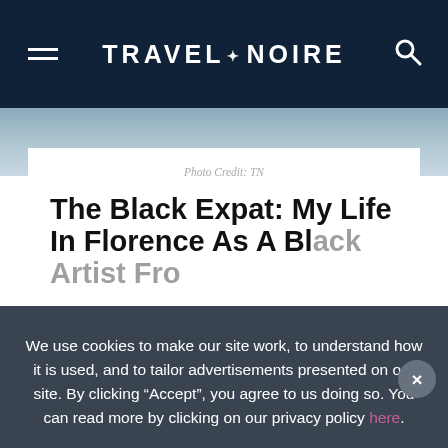TRAVEL + NOIRE
[Figure (photo): Partial outdoor photo visible behind article card]
Photo Credit: TN
The Black Expat: My Life In Florence As A Black Artist From The Bu...
We use cookies to make our site work, to understand how it is used, and to tailor advertisements presented on our site. By clicking “Accept”, you agree to us doing so. You can read more by clicking on our privacy policy here.